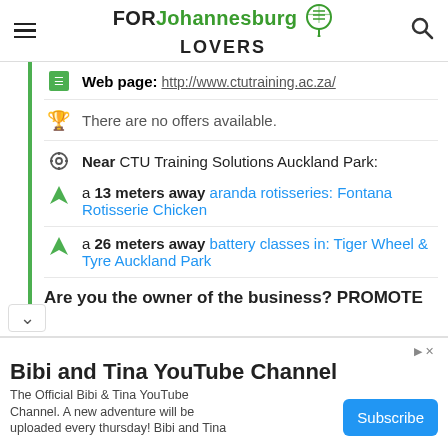FORJohannesburgLOVERS
Web page: http://www.ctutraining.ac.za/
There are no offers available.
Near CTU Training Solutions Auckland Park:
a 13 meters away aranda rotisseries: Fontana Rotisserie Chicken
a 26 meters away battery classes in: Tiger Wheel & Tyre Auckland Park
Are you the owner of the business? PROMOTE
[Figure (screenshot): Advertisement banner: Bibi and Tina YouTube Channel with Subscribe button]